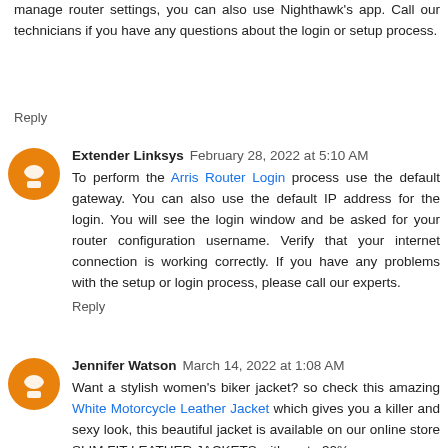manage router settings, you can also use Nighthawk's app. Call our technicians if you have any questions about the login or setup process.
Reply
Extender Linksys  February 28, 2022 at 5:10 AM
To perform the Arris Router Login process use the default gateway. You can also use the default IP address for the login. You will see the login window and be asked for your router configuration username. Verify that your internet connection is working correctly. If you have any problems with the setup or login process, please call our experts.
Reply
Jennifer Watson  March 14, 2022 at 1:08 AM
Want a stylish women's biker jacket? so check this amazing White Motorcycle Leather Jacket which gives you a killer and sexy look, this beautiful jacket is available on our online store SLIM FIT LEATHER JACKETS with up to 30%